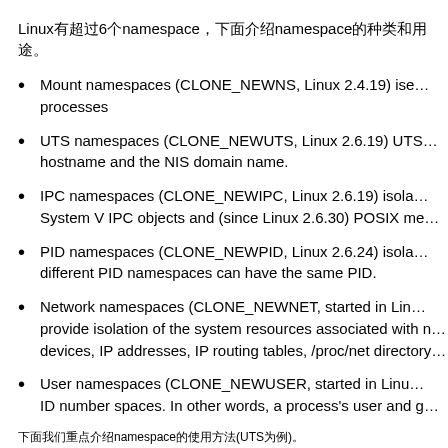Linux有超过6个namespace，下面介绍namespace的种类和用途。
Mount namespaces (CLONE_NEWNS, Linux 2.4.19) isolate the set of filesystem mount points seen by a group of processes
UTS namespaces (CLONE_NEWUTS, Linux 2.6.19) UTS namespace isolates two system identifiers: the hostname and the NIS domain name.
IPC namespaces (CLONE_NEWIPC, Linux 2.6.19) isolates certain interprocess communication (IPC) resources, namely System V IPC objects and (since Linux 2.6.30) POSIX message queues.
PID namespaces (CLONE_NEWPID, Linux 2.6.24) isolates the process ID number space. Processes in different PID namespaces can have the same PID.
Network namespaces (CLONE_NEWNET, started in Linux 2.6.24) provide isolation of the system resources associated with networking: network devices, IP addresses, IP routing tables, /proc/net directory, port numbers, and so on.
User namespaces (CLONE_NEWUSER, started in Linux 2.6.23) isolate the user and group ID number spaces. In other words, a process's user and group IDs can be different inside and outside a user namespace.
下面我们重点介绍namespace的使用方法(UTS为例)。
UTS namespaces